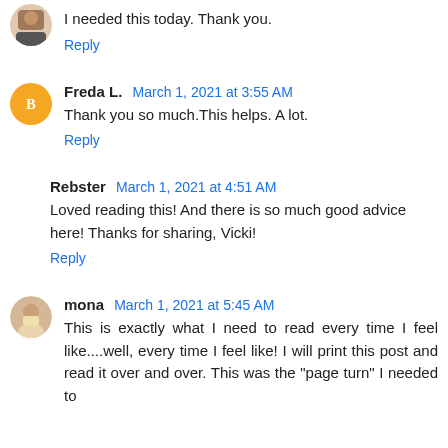I needed this today. Thank you.
Reply
Freda L. March 1, 2021 at 3:55 AM
Thank you so much.This helps. A lot.
Reply
Rebster March 1, 2021 at 4:51 AM
Loved reading this! And there is so much good advice here! Thanks for sharing, Vicki!
Reply
mona March 1, 2021 at 5:45 AM
This is exactly what I need to read every time I feel like....well, every time I feel like! I will print this post and read it over and over. This was the "page turn" I needed to